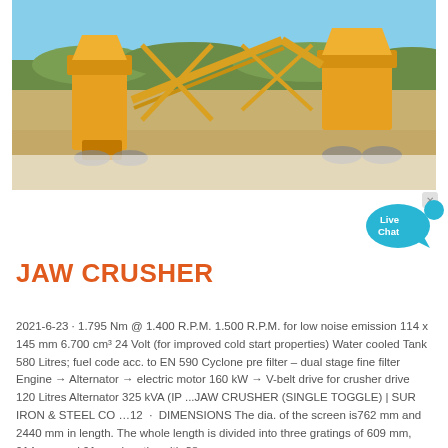[Figure (photo): Aerial/overhead photo of yellow jaw crusher and conveyor machinery equipment outdoors on a quarry site]
JAW CRUSHER
2021-6-23 · 1.795 Nm @ 1.400 R.P.M. 1.500 R.P.M. for low noise emission 114 x 145 mm 6.700 cm³ 24 Volt (for improved cold start properties) Water cooled Tank 580 Litres; fuel code acc. to EN 590 Cyclone pre filter – dual stage fine filter Engine → Alternator → electric motor 160 kW → V-belt drive for crusher drive 120 Litres Alternator 325 kVA (IP ...JAW CRUSHER (SINGLE TOGGLE) | SUR IRON & STEEL CO …12  ·  DIMENSIONS The dia. of the screen is762 mm and 2440 mm in length. The whole length is divided into three gratings of 609 mm, 914 mm and 91 mm lengths with 38 mm